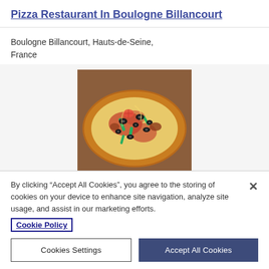Pizza Restaurant In Boulogne Billancourt
Boulogne Billancourt, Hauts-de-Seine, France
[Figure (photo): A photo of a pizza with black olives, green peppers, cheese and toppings on a wooden board.]
I propose a pizzeria restaurant with license 4, in the heart of Boulogne Billancourt of M...
By clicking “Accept All Cookies”, you agree to the storing of cookies on your device to enhance site navigation, analyze site usage, and assist in our marketing efforts.
Cookie Policy
Cookies Settings
Accept All Cookies